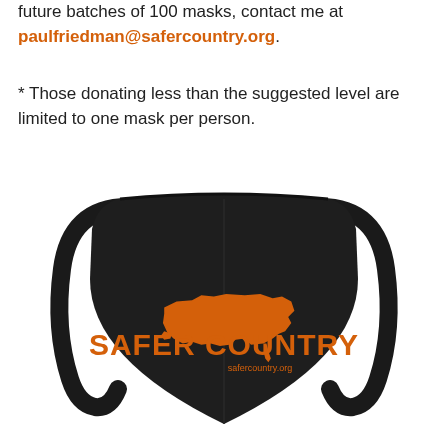future batches of 100 masks, contact me at paulfriedman@safercountry.org.
* Those donating less than the suggested level are limited to one mask per person.
[Figure (photo): A black face mask with the Safer Country logo (orange text reading SAFER COUNTRY with an orange silhouette of the United States and safercountry.org written below) printed on the front.]